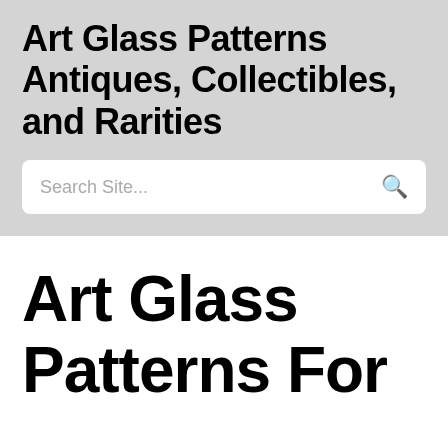Art Glass Patterns Antiques, Collectibles, and Rarities
Search Site...
Art Glass Patterns For